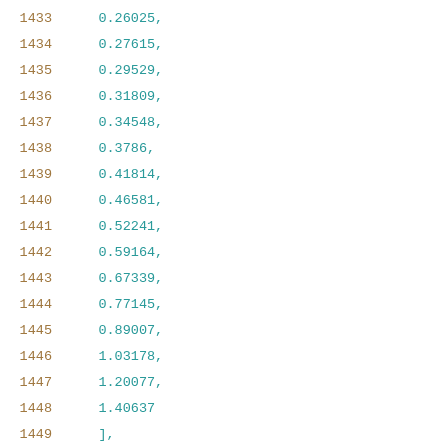1433    0.26025,
1434    0.27615,
1435    0.29529,
1436    0.31809,
1437    0.34548,
1438    0.3786,
1439    0.41814,
1440    0.46581,
1441    0.52241,
1442    0.59164,
1443    0.67339,
1444    0.77145,
1445    0.89007,
1446    1.03178,
1447    1.20077,
1448    1.40637
1449    ],
1450    [
1451      0.1922,
1452      0.21862,
1453      0.2232,